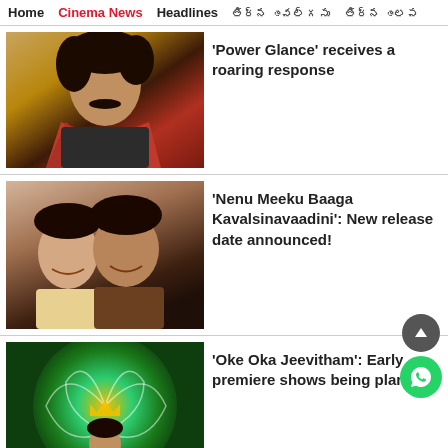Home | Cinema News | Headlines | [Telugu text] | [Telugu text]
[Figure (photo): Movie poster of a man wearing a red scarf, likely a Telugu film promotional image]
'Power Glance' receives a roaring response
[Figure (photo): Movie poster showing a smiling couple, likely from 'Nenu Meeku Baaga Kavalsinavaadini']
'Nenu Meeku Baaga Kavalsinavaadini': New release date announced!
[Figure (photo): Movie poster for 'Oke Oka Jeevitham' with green swirl design and characters]
'Oke Oka Jeevitham': Early premiere shows being planned